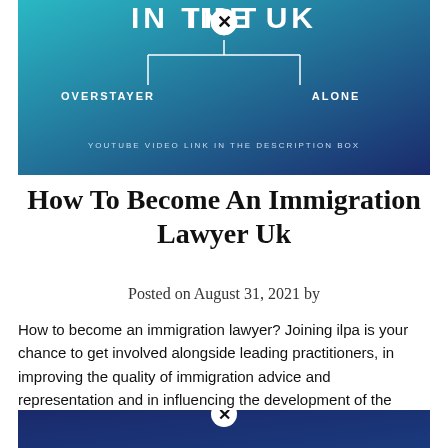[Figure (infographic): A teal-to-dark-blue gradient infographic showing a flowchart with 'IN THE UK' text at top, two branches labeled 'OVERSTAYER' and 'ALONE', and text 'YOUTUBE VIDEO LINK IN THE DESCRIPTION BOX'. A circled X icon appears at center top.]
How To Become An Immigration Lawyer Uk
Posted on August 31, 2021 by
How to become an immigration lawyer? Joining ilpa is your chance to get involved alongside leading practitioners, in improving the quality of immigration advice and representation and in influencing the development of the law.
[Figure (infographic): Bottom portion of a dark blue infographic with a circled X icon visible at top center and partial content below, partially cropped.]